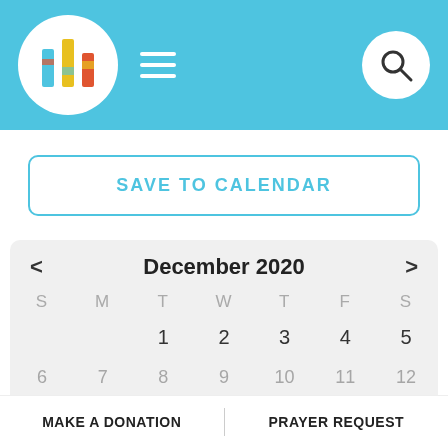[Figure (logo): Church logo with colorful building icon in a white circle, hamburger menu icon, and search icon on a light blue header background]
SAVE TO CALENDAR
[Figure (other): December 2020 calendar with navigation arrows, day headers S M T W T F S, and dates 1-12 visible (1-5 in first row, 6-12 partially visible in second row)]
MAKE A DONATION | PRAYER REQUEST